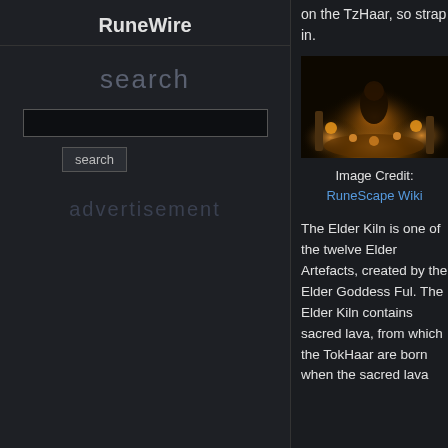RuneWire
search
advertisement
on the TzHaar, so strap in.
[Figure (photo): In-game screenshot of the Elder Kiln / TzHaar area from RuneScape, showing a dark scene with glowing orange/golden lava lights and a creature or structure at center]
Image Credit: RuneScape Wiki
The Elder Kiln is one of the twelve Elder Artefacts, created by the Elder Goddess Ful. The Elder Kiln contains sacred lava, from which the TokHaar are born when the sacred lava